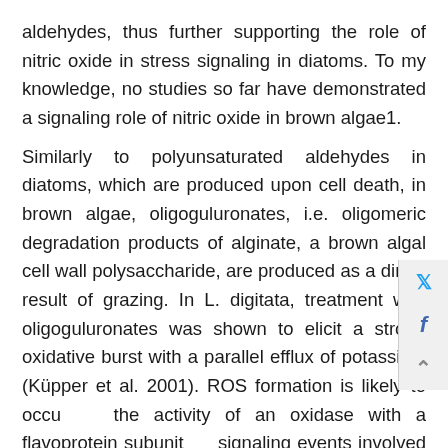aldehydes, thus further supporting the role of nitric oxide in stress signaling in diatoms. To my knowledge, no studies so far have demonstrated a signaling role of nitric oxide in brown algae1.
Similarly to polyunsaturated aldehydes in diatoms, which are produced upon cell death, in brown algae, oligoguluronates, i.e. oligomeric degradation products of alginate, a brown algal cell wall polysaccharide, are produced as a direct result of grazing. In L. digitata, treatment with oligoguluronates was shown to elicit a strong oxidative burst with a parallel efflux of potassium (Küpper et al. 2001). ROS formation is likely to occur via the activity of an oxidase with a flavoprotein subunit and signaling events involved in this process probably include phospholipase A2 as well as calcium and